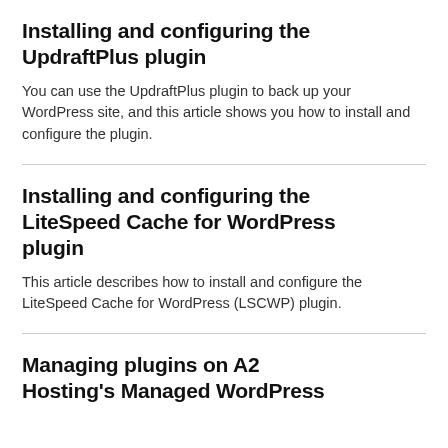Installing and configuring the UpdraftPlus plugin
You can use the UpdraftPlus plugin to back up your WordPress site, and this article shows you how to install and configure the plugin.
Installing and configuring the LiteSpeed Cache for WordPress plugin
This article describes how to install and configure the LiteSpeed Cache for WordPress (LSCWP) plugin.
Managing plugins on A2 Hosting's Managed WordPress